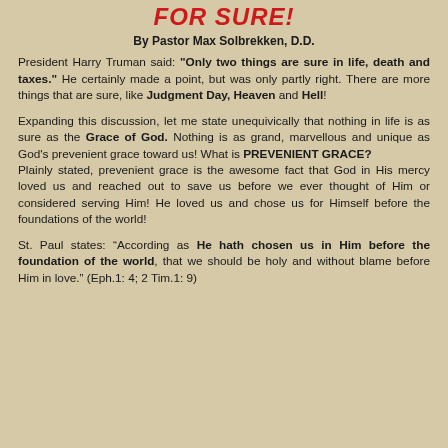FOR SURE!
By Pastor Max Solbrekken, D.D.
President Harry Truman said: "Only two things are sure in life, death and taxes." He certainly made a point, but was only partly right. There are more things that are sure, like Judgment Day, Heaven and Hell!
Expanding this discussion, let me state unequivically that nothing in life is as sure as the Grace of God. Nothing is as grand, marvellous and unique as God’s prevenient grace toward us! What is PREVENIENT GRACE? Plainly stated, prevenient grace is the awesome fact that God in His mercy loved us and reached out to save us before we ever thought of Him or considered serving Him! He loved us and chose us for Himself before the foundations of the world!
St. Paul states: “According as He hath chosen us in Him before the foundation of the world, that we should be holy and without blame before Him in love.” (Eph.1: 4; 2 Tim.1: 9)